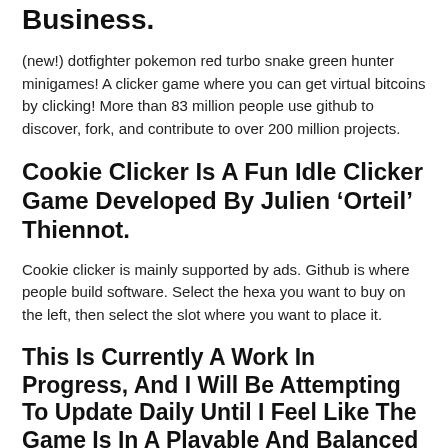Business.
(new!) dotfighter pokemon red turbo snake green hunter minigames! A clicker game where you can get virtual bitcoins by clicking! More than 83 million people use github to discover, fork, and contribute to over 200 million projects.
Cookie Clicker Is A Fun Idle Clicker Game Developed By Julien ‘Orteil’ Thiennot.
Cookie clicker is mainly supported by ads. Github is where people build software. Select the hexa you want to buy on the left, then select the slot where you want to place it.
This Is Currently A Work In Progress, And I Will Be Attempting To Update Daily Until I Feel Like The Game Is In A Playable And Balanced State.